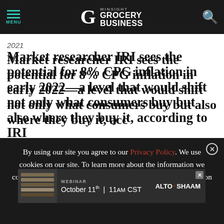MENU | WINSIGHT GROCERY BUSINESS
2021
Market researcher IRI sees the potential for 8% CPG inflation in early 2022—a level that would shift not only what consumers buy but also where they buy it, according to IRI
[Figure (screenshot): Advertisement banner: WEBINAR October 11th | 11am CST | ALTO·SHAAM logo, dark background with food image on left]
By using our site you agree to our Privacy Policy. We use cookies on our site. To learn more about the information we collect, how we use it and your choices, visit the cookies section of our Privacy Policy.